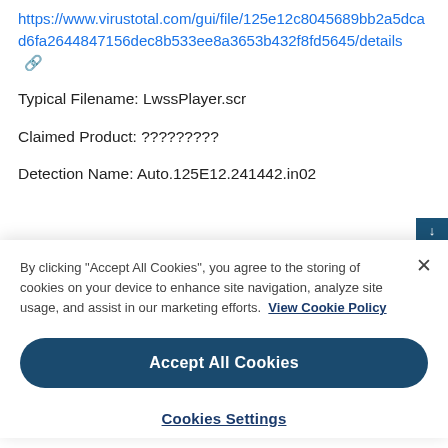https://www.virustotal.com/gui/file/125e12c8045689bb2a5dcad6fa2644847156dec8b533ee8a3653b432f8fd5645/details 🔗
Typical Filename: LwssPlayer.scr
Claimed Product: ?????????
Detection Name: Auto.125E12.241442.in02
By clicking "Accept All Cookies", you agree to the storing of cookies on your device to enhance site navigation, analyze site usage, and assist in our marketing efforts. View Cookie Policy
Accept All Cookies
Cookies Settings